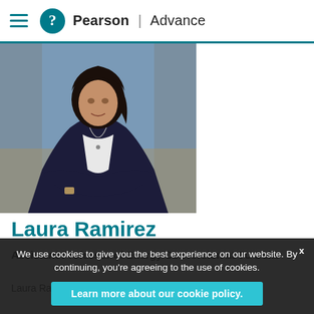Pearson | Advance
[Figure (photo): Professional photo of Laura Ramirez, a woman with dark hair wearing a dark blazer, arms crossed, against an indoor background]
Laura Ramirez
Assistant Professor of Energy Conversion at TU Delft
Laura Ramirez is an Assistant Professor of
We use cookies to give you the best experience on our website. By continuing, you're agreeing to the use of cookies.
Learn more about our cookie policy.